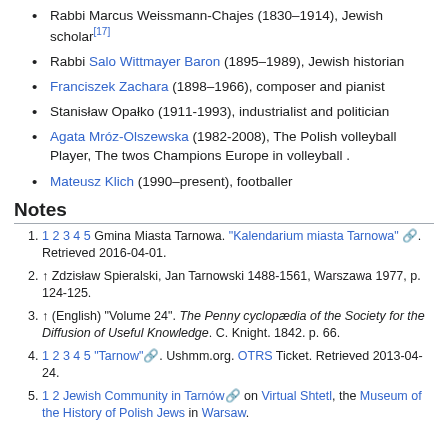Rabbi Marcus Weissmann-Chajes (1830–1914), Jewish scholar[17]
Rabbi Salo Wittmayer Baron (1895–1989), Jewish historian
Franciszek Zachara (1898–1966), composer and pianist
Stanisław Opałko (1911-1993), industrialist and politician
Agata Mróz-Olszewska (1982-2008), The Polish volleyball Player, The twos Champions Europe in volleyball .
Mateusz Klich (1990–present), footballer
Notes
1 2 3 4 5 Gmina Miasta Tarnowa. "Kalendarium miasta Tarnowa". Retrieved 2016-04-01.
↑ Zdzisław Spieralski, Jan Tarnowski 1488-1561, Warszawa 1977, p. 124-125.
↑ (English) "Volume 24". The Penny cyclopædia of the Society for the Diffusion of Useful Knowledge. C. Knight. 1842. p. 66.
1 2 3 4 5 "Tarnow". Ushmm.org. OTRS Ticket. Retrieved 2013-04-24.
1 2 Jewish Community in Tarnów on Virtual Shtetl, the Museum of the History of Polish Jews in Warsaw.